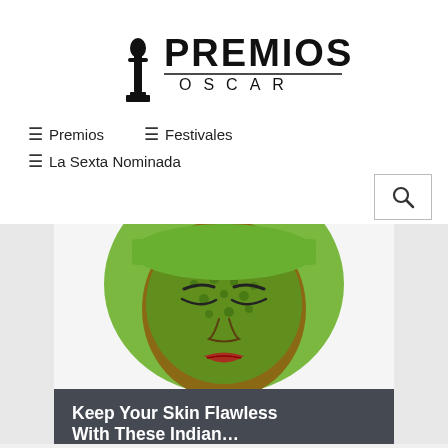[Figure (logo): Premios Oscar logo with Oscar statuette silhouette and text PREMIOS OSCAR]
≡ Premios   ≡ Festivales   ≡ La Sexta Nominada
[Figure (photo): Woman with green facial mask and green headband, eyes closed]
Keep Your Skin Flawless With These Indian…